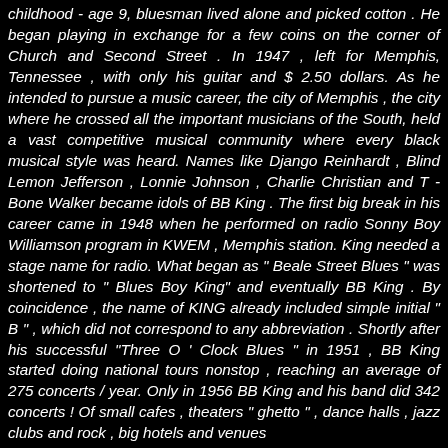childhood - age 9, bluesman lived alone and picked cotton . He began playing in exchange for a few coins on the corner of Church and Second Street . In 1947 , left for Memphis, Tennessee , with only his guitar and $ 2.50 dollars. As he intended to pursue a music career, the city of Memphis , the city where he crossed all the important musicians of the South, held a vast competitive musical community where every black musical style was heard. Names like Django Reinhardt , Blind Lemon Jefferson , Lonnie Johnson , Charlie Christian and T -Bone Walker became idols of BB King . The first big break in his career came in 1948 when he performed on radio Sonny Boy Williamson program in KWEM , Memphis station. King needed a stage name for radio. What began as " Beale Street Blues " was shortened to " Blues Boy King" and eventually BB King . By coincidence , the name of KING already included simple initial " B " , which did not correspond to any abbreviation . Shortly after his successful "Three O ' Clock Blues " in 1951 , BB King started doing national tours nonstop , reaching an average of 275 concerts / year. Only in 1956 BB King and his band did 342 concerts ! Of small cafes , theaters " ghetto " , dance halls , jazz clubs and rock , big hotels and venues